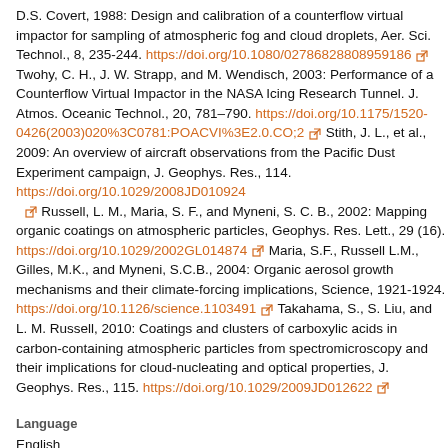D.S. Covert, 1988: Design and calibration of a counterflow virtual impactor for sampling of atmospheric fog and cloud droplets, Aer. Sci. Technol., 8, 235-244. https://doi.org/10.1080/02786828808959186 Twohy, C. H., J. W. Strapp, and M. Wendisch, 2003: Performance of a Counterflow Virtual Impactor in the NASA Icing Research Tunnel. J. Atmos. Oceanic Technol., 20, 781–790. https://doi.org/10.1175/1520-0426(2003)020%3C0781:POACVI%3E2.0.CO;2 Stith, J. L., et al., 2009: An overview of aircraft observations from the Pacific Dust Experiment campaign, J. Geophys. Res., 114. https://doi.org/10.1029/2008JD010924 Russell, L. M., Maria, S. F., and Myneni, S. C. B., 2002: Mapping organic coatings on atmospheric particles, Geophys. Res. Lett., 29 (16). https://doi.org/10.1029/2002GL014874 Maria, S.F., Russell L.M., Gilles, M.K., and Myneni, S.C.B., 2004: Organic aerosol growth mechanisms and their climate-forcing implications, Science, 1921-1924. https://doi.org/10.1126/science.1103491 Takahama, S., S. Liu, and L. M. Russell, 2010: Coatings and clusters of carboxylic acids in carbon-containing atmospheric particles from spectromicroscopy and their implications for cloud-nucleating and optical properties, J. Geophys. Res., 115. https://doi.org/10.1029/2009JD012622
Language
English